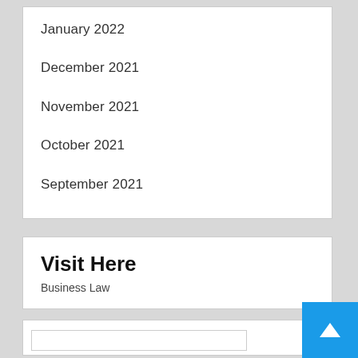January 2022
December 2021
November 2021
October 2021
September 2021
Visit Here
Business Law